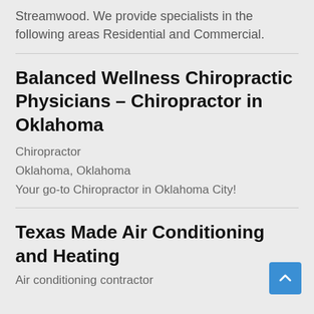Streamwood. We provide specialists in the following areas Residential and Commercial.
Balanced Wellness Chiropractic Physicians – Chiropractor in Oklahoma
Chiropractor
Oklahoma, Oklahoma
Your go-to Chiropractor in Oklahoma City!
Texas Made Air Conditioning and Heating
Air conditioning contractor